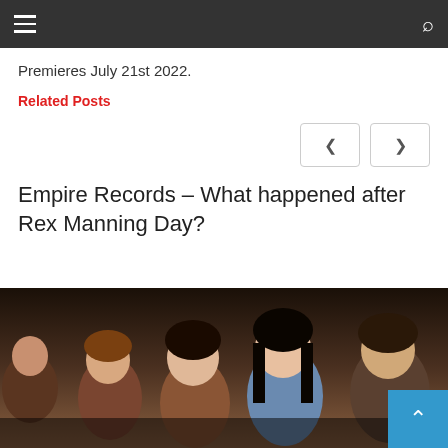navigation bar with hamburger menu and search icon
Premieres July 21st 2022.
Related Posts
Empire Records – What happened after Rex Manning Day?
[Figure (photo): Group photo of several young people, cast of Empire Records related content]